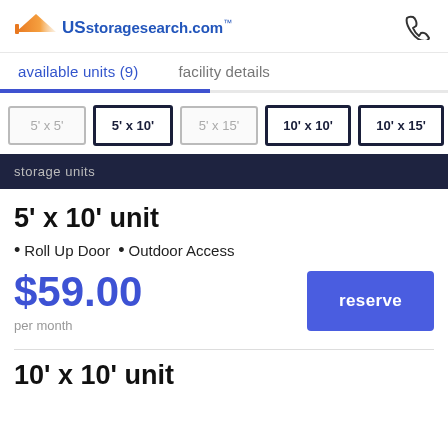USstoragesearch.com
available units (9)   facility details
5' x 5'   5' x 10'   5' x 15'   10' x 10'   10' x 15'
storage units
5' x 10' unit
Roll Up Door  •  Outdoor Access
$59.00
per month
reserve
10' x 10' unit